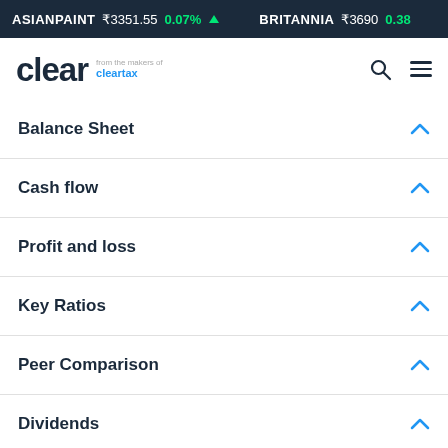ASIANPAINT ₹3351.55 0.07% ▲   BRITANNIA ₹3690 0.38%
[Figure (logo): Clear logo - from the makers of cleartax]
Balance Sheet
Cash flow
Profit and loss
Key Ratios
Peer Comparison
Dividends